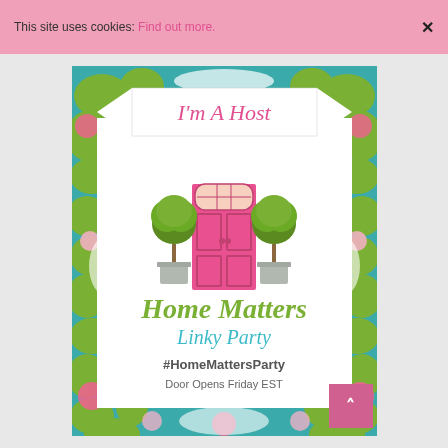This site uses cookies: Find out more. ×
[Figure (illustration): Home Matters Linky Party badge/badge image. Colorful floral border in pink, green, and teal surrounds a white card. At the top is a ribbon banner saying 'I'm A Host' in pink script. The white card area shows a pink front door with two potted topiary trees. Below the door illustration is cursive text 'Home Matters' in green, 'Linky Party' in teal italic, '#HomeMattersParty' in dark text, and 'Door Opens Friday EST' in smaller text.]